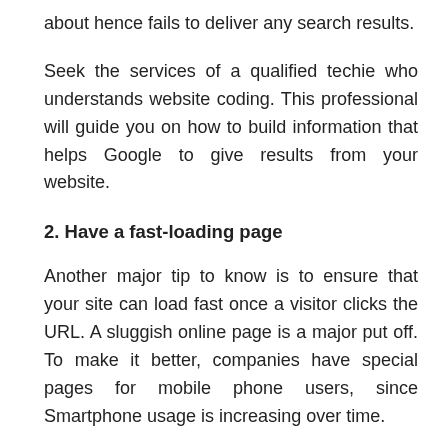about hence fails to deliver any search results.
Seek the services of a qualified techie who understands website coding. This professional will guide you on how to build information that helps Google to give results from your website.
2. Have a fast-loading page
Another major tip to know is to ensure that your site can load fast once a visitor clicks the URL. A sluggish online page is a major put off. To make it better, companies have special pages for mobile phone users, since Smartphone usage is increasing over time.
The need for a website that opens fast cannot be emphasized enough. Your tech consultants can take